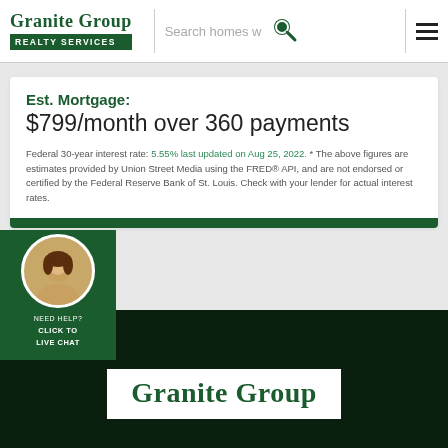Granite Group REALTY SERVICES | Search homes | [search icon] [menu icon]
Est. Mortgage:
$799/month over 360 payments
Federal 30-year interest rate: 5.55% last updated on Aug 25, 2022. * The above figures are estimates provided by Union Street Media using the FRED® API, and are not endorsed or certified by the Federal Reserve Bank of St. Louis. Check with your lender for actual interest rates.
[Figure (logo): Granite Group Realty Services logo in footer - white box with green serif text]
NEED HELP? CLICK TO LIVE CHAT